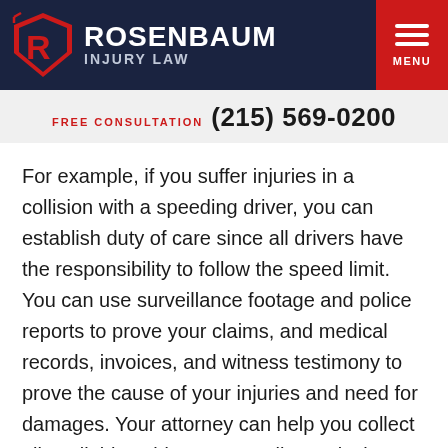[Figure (logo): Rosenbaum Injury Law logo with red shield/R icon and white text on dark navy background, with red MENU button on right]
FREE CONSULTATION  (215) 569-0200
For example, if you suffer injuries in a collision with a speeding driver, you can establish duty of care since all drivers have the responsibility to follow the speed limit. You can use surveillance footage and police reports to prove your claims, and medical records, invoices, and witness testimony to prove the cause of your injuries and need for damages. Your attorney can help you collect all available evidence, as well as calculate the value of your claim.